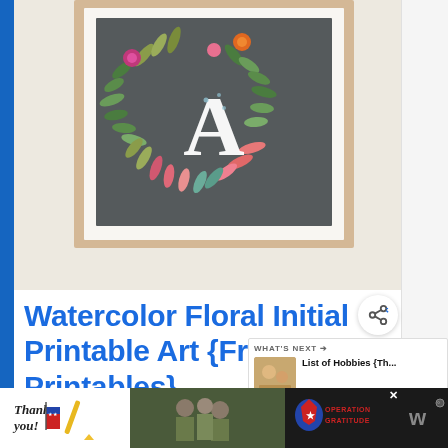[Figure (photo): A framed watercolor floral initial art print showing the letter A surrounded by colorful botanical leaves and flowers on a dark gray background, displayed on a white wall]
Watercolor Floral Initial Printable Art {Free Nu... Printables}
[Figure (infographic): What's Next callout showing thumbnail and text: List of Hobbies {Th...]
[Figure (photo): Operation Gratitude advertisement banner with Thank You text, military photo, and Operation Gratitude logo]